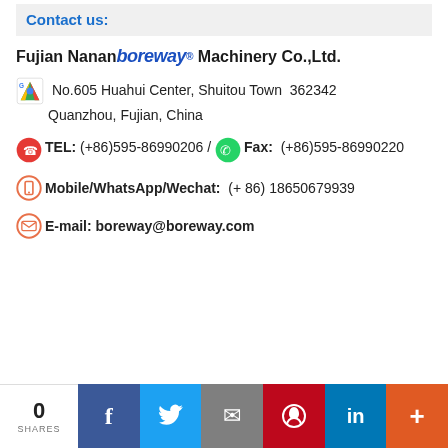Contact us:
Fujian Nanan boreway® Machinery Co.,Ltd.
No.605 Huahui Center, Shuitou Town  362342 Quanzhou, Fujian, China
TEL: (+86)595-86990206 / Fax: (+86)595-86990220
Mobile/WhatsApp/Wechat: (+ 86) 18650679939
E-mail: boreway@boreway.com
0 SHARES  f  Twitter  Email  Pinterest  in  +